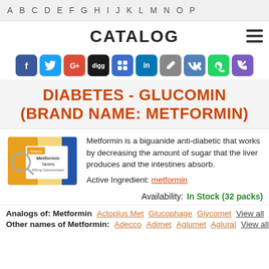A B C D E F G H I J K L M N O P
CATALOG
[Figure (infographic): Social media sharing icons: Facebook, Twitter, Google+, Digg, Delicious, LinkedIn, Pencil, VK, WhatsApp, Phone]
DIABETES - GLUCOMIN (BRAND NAME: METFORMIN)
[Figure (photo): Metformin Tablets product box, white and yellow/gold packaging with blue accent]
Metformin is a biguanide anti-diabetic that works by decreasing the amount of sugar that the liver produces and the intestines absorb.
Active Ingredient: metformin
Availability: In Stock (32 packs)
Analogs of: Metformin   Actoplus Met   Glucophage   Glycomet   View all
Other names of Metformin:   Adecco   Adimet   Aglumet   Aglural   View all